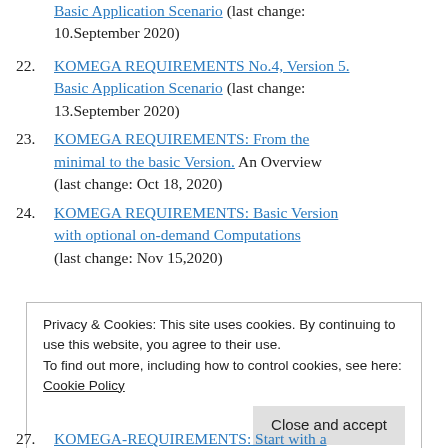(last change: 10.September 2020)
22. KOMEGA REQUIREMENTS No.4, Version 5. Basic Application Scenario (last change: 13.September 2020)
23. KOMEGA REQUIREMENTS: From the minimal to the basic Version. An Overview (last change: Oct 18, 2020)
24. KOMEGA REQUIREMENTS: Basic Version with optional on-demand Computations (last change: Nov 15,2020)
Privacy & Cookies: This site uses cookies. By continuing to use this website, you agree to their use. To find out more, including how to control cookies, see here: Cookie Policy
27. KOMEGA-REQUIREMENTS: Start with a